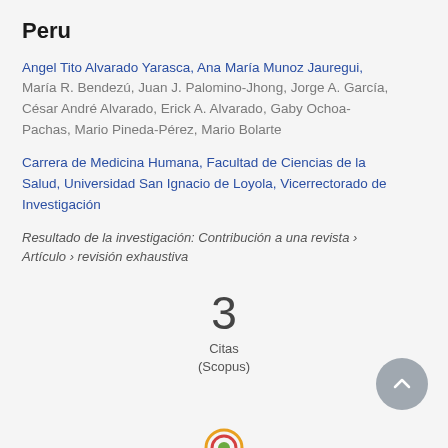Peru
Angel Tito Alvarado Yarasca, Ana María Munoz Jauregui, María R. Bendezú, Juan J. Palomino-Jhong, Jorge A. García, César André Alvarado, Erick A. Alvarado, Gaby Ochoa-Pachas, Mario Pineda-Pérez, Mario Bolarte
Carrera de Medicina Humana, Facultad de Ciencias de la Salud, Universidad San Ignacio de Loyola, Vicerrectorado de Investigación
Resultado de la investigación: Contribución a una revista › Artículo › revisión exhaustiva
3
Citas
(Scopus)